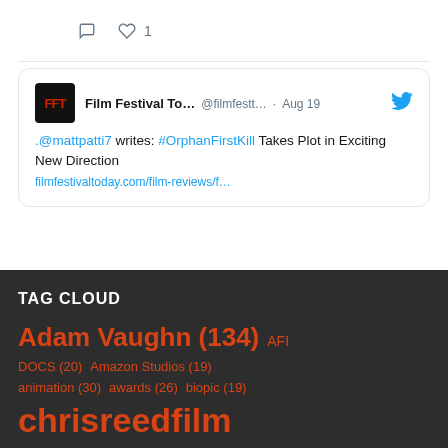[Figure (screenshot): Twitter/social media card showing tweet icons (reply, like with count 1) at top]
[Figure (screenshot): Tweet card from Film Festival To... @filmfestt... · Aug 19 with twitter bird icon. Text: .@mattpatti7 writes: #OrphanFirstKill Takes Plot in Exciting New Direction. With truncated URL filmfestivaltoday.com/film-reviews/f...]
TAG CLOUD
Adam Vaughn (134)
AFI DOCS (20)
Amazon Studios (19)
animation (30)
awards (26)
biopic (19)
chrisreedfilm